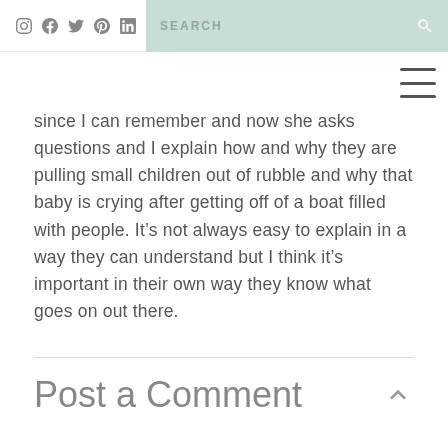Social media icons: Instagram, Facebook, Twitter, Pinterest, LinkedIn | SEARCH bar
since I can remember and now she asks questions and I explain how and why they are pulling small children out of rubble and why that baby is crying after getting off of a boat filled with people. It's not always easy to explain in a way they can understand but I think it's important in their own way they know what goes on out there.
Post a Comment